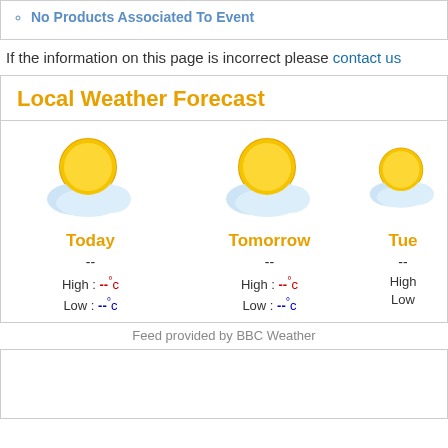No Products Associated To Event
If the information on this page is incorrect please contact us
Local Weather Forecast
[Figure (infographic): Weather forecast widget showing three day forecast (Today, Tomorrow, Tuesday) with partly cloudy sun icons. Each day shows High: --°c and Low: --°c with dashes in red and blue respectively.]
Feed provided by BBC Weather